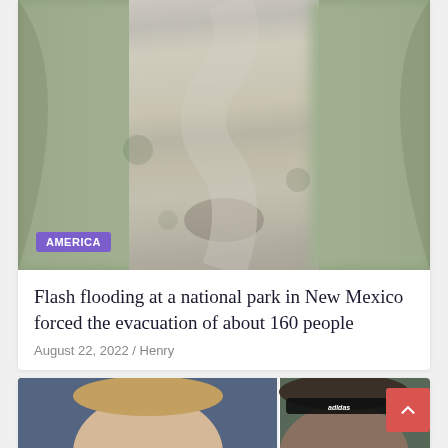[Figure (photo): Aerial view of a flash-flooded river winding through a rocky canyon in New Mexico, with blurred edges]
AMERICA
Flash flooding at a national park in New Mexico forced the evacuation of about 160 people
August 22, 2022 / Henry
[Figure (photo): Two men's faces side by side — left is a light-haired man, right is a man wearing a black Adidas headband]